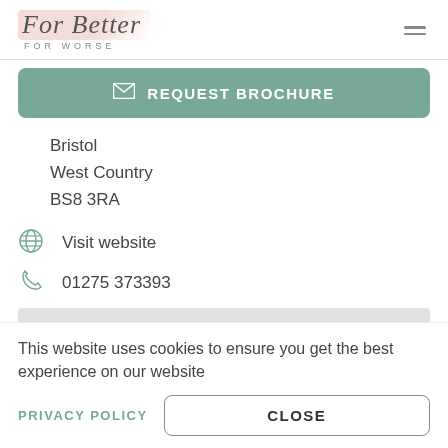[Figure (logo): For Better For Worse logo with brush stroke background]
REQUEST BROCHURE
Bristol
West Country
BS8 3RA
Visit website
01275 373393
[Figure (map): Partial world map in light grey tones]
This website uses cookies to ensure you get the best experience on our website
PRIVACY POLICY
CLOSE